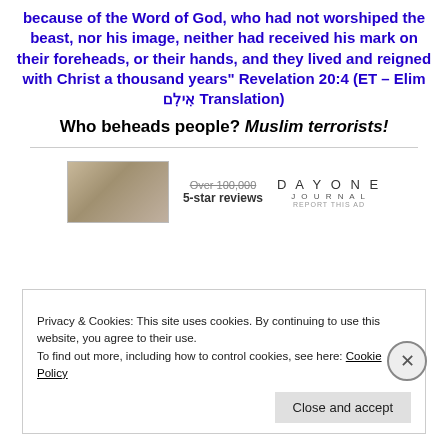because of the Word of God, who had not worshiped the beast, nor his image, neither had received his mark on their foreheads, or their hands, and they lived and reigned with Christ a thousand years" Revelation 20:4 (ET – Elim אִילִם Translation)
Who beheads people? Muslim terrorists!
[Figure (screenshot): Advertisement banner showing a person, '5-star reviews' text, and DayOne Journal logo with 'Report this Ad' link]
Privacy & Cookies: This site uses cookies. By continuing to use this website, you agree to their use. To find out more, including how to control cookies, see here: Cookie Policy